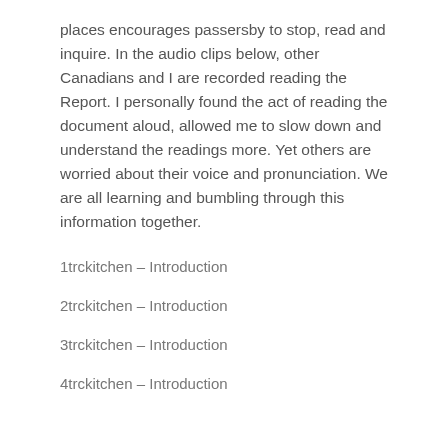places encourages passersby to stop, read and inquire. In the audio clips below, other Canadians and I are recorded reading the Report. I personally found the act of reading the document aloud, allowed me to slow down and understand the readings more. Yet others are worried about their voice and pronunciation. We are all learning and bumbling through this information together.
1trckitchen – Introduction
2trckitchen – Introduction
3trckitchen – Introduction
4trckitchen – Introduction